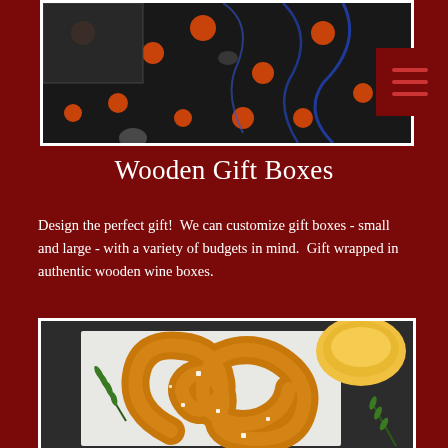[Figure (photo): Gift boxes with polka dot wrapping paper and blue ribbons, dark background]
Wooden Gift Boxes
Design the perfect gift!  We can customize gift boxes - small and large - with a variety of budgets in mind.  Gift wrapped in authentic wooden wine boxes.
[Figure (photo): A golden-brown soft pretzel with rosemary herbs and a bowl of yellow dipping sauce on a white surface]